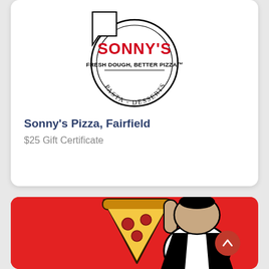[Figure (logo): Sonny's Pizza circular logo with text 'SONNY'S' in red, 'FRESH DOUGH, BETTER PIZZA' and 'PASTA - DESSERTS' in black on white background with circle border]
Sonny's Pizza, Fairfield
$25 Gift Certificate
[Figure (illustration): Cartoon character holding a pizza slice on a red background, with a black and white mascot figure]